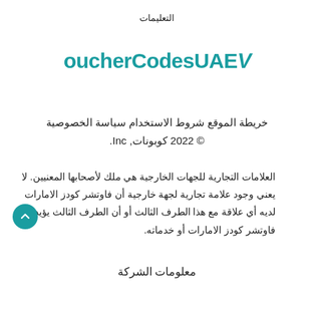التعليمات
[Figure (logo): VoucherCodesUAE logo in teal color with a stylized V checkmark]
خريطة الموقع شروط الاستخدام سياسة الخصوصية
© 2022 كوبونات, Inc.
العلامات التجارية للجهات الخارجية هي ملك لأصحابها المعنيين. لا يعني وجود علامة تجارية لجهة خارجية أن فاوتشر كودز الامارات لديه أي علاقة مع هذا الطرف الثالث أو أن الطرف الثالث يؤيد فاوتشر كودز الامارات أو خدماته.
معلومات الشركة